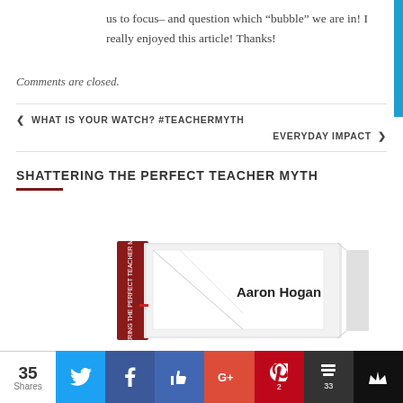us to focus– and question which "bubble" we are in! I really enjoyed this article! Thanks!
Comments are closed.
WHAT IS YOUR WATCH? #TEACHERMYTH
EVERYDAY IMPACT
SHATTERING THE PERFECT TEACHER MYTH
[Figure (photo): Book cover showing 'Shattering the Perfect Teacher Myth' by Aaron Hogan]
35 Shares | Twitter | Facebook | Like | G+ | Pinterest 2 | Buffer 33 | Crown